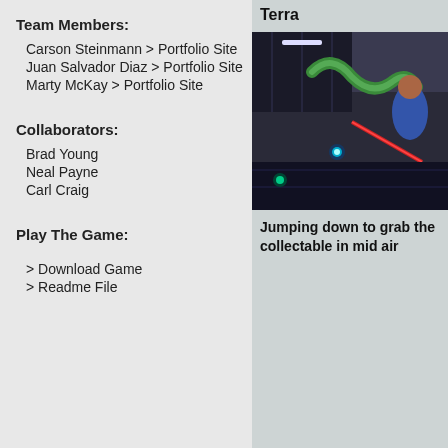Team Members:
Carson Steinmann > Portfolio Site
Juan Salvador Diaz > Portfolio Site
Marty McKay > Portfolio Site
Collaborators:
Brad Young
Neal Payne
Carl Craig
Play The Game:
> Download Game
> Readme File
Terra
[Figure (screenshot): In-game screenshot showing a character jumping down to grab a collectable in mid air, with sci-fi environment, green snake-like enemy, and red accent lighting.]
Jumping down to grab the collectable in mid air